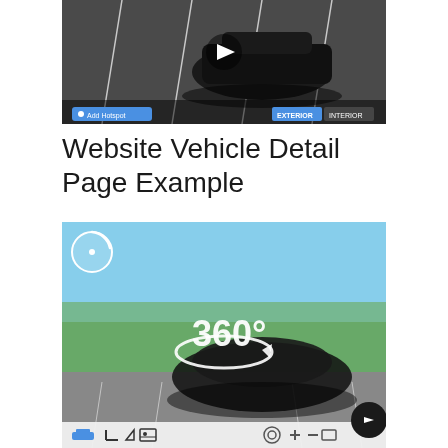[Figure (screenshot): Screenshot of a vehicle detail page showing a black Lexus in a parking lot with a play button overlay. Bottom left shows 'Add Hotspot' button in blue, bottom right shows 'EXTERIOR' and 'INTERIOR' tab buttons.]
Website Vehicle Detail Page Example
[Figure (screenshot): Screenshot of a 360-degree vehicle viewer showing a black car on a parking lot with trees in background. A large '360°' icon with circular arrow is overlaid on center. Top-left has a circular timer/progress icon. Bottom toolbar shows car icon, angle controls, image icon, camera icon, plus/minus zoom, fullscreen, and a dark circular back button on the right.]